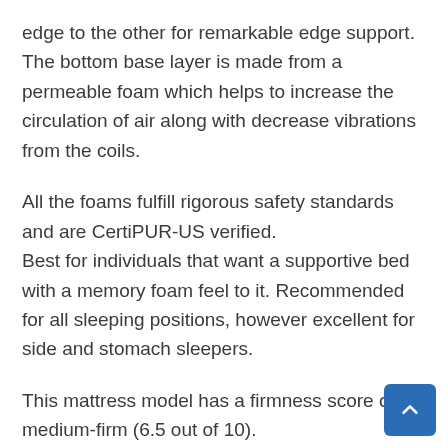edge to the other for remarkable edge support. The bottom base layer is made from a permeable foam which helps to increase the circulation of air along with decrease vibrations from the coils.
All the foams fulfill rigorous safety standards and are CertiPUR-US verified. Best for individuals that want a supportive bed with a memory foam feel to it. Recommended for all sleeping positions, however excellent for side and stomach sleepers.
This mattress model has a firmness score of medium-firm (6.5 out of 10).